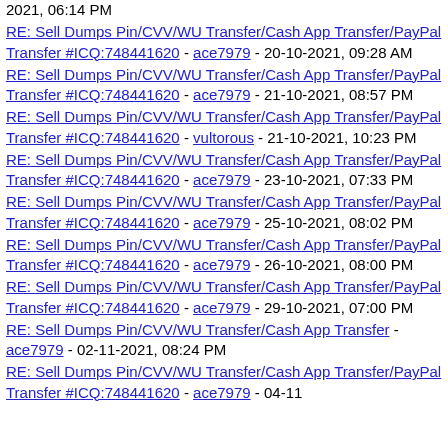2021, 06:14 PM
RE: Sell Dumps Pin/CVV/WU Transfer/Cash App Transfer/PayPal Transfer #ICQ:748441620 - ace7979 - 20-10-2021, 09:28 AM
RE: Sell Dumps Pin/CVV/WU Transfer/Cash App Transfer/PayPal Transfer #ICQ:748441620 - ace7979 - 21-10-2021, 08:57 PM
RE: Sell Dumps Pin/CVV/WU Transfer/Cash App Transfer/PayPal Transfer #ICQ:748441620 - vultorous - 21-10-2021, 10:23 PM
RE: Sell Dumps Pin/CVV/WU Transfer/Cash App Transfer/PayPal Transfer #ICQ:748441620 - ace7979 - 23-10-2021, 07:33 PM
RE: Sell Dumps Pin/CVV/WU Transfer/Cash App Transfer/PayPal Transfer #ICQ:748441620 - ace7979 - 25-10-2021, 08:02 PM
RE: Sell Dumps Pin/CVV/WU Transfer/Cash App Transfer/PayPal Transfer #ICQ:748441620 - ace7979 - 26-10-2021, 08:00 PM
RE: Sell Dumps Pin/CVV/WU Transfer/Cash App Transfer/PayPal Transfer #ICQ:748441620 - ace7979 - 29-10-2021, 07:00 PM
RE: Sell Dumps Pin/CVV/WU Transfer/Cash App Transfer - ace7979 - 02-11-2021, 08:24 PM
RE: Sell Dumps Pin/CVV/WU Transfer/Cash App Transfer/PayPal Transfer #ICQ:748441620 - ace7979 - 04-11-...